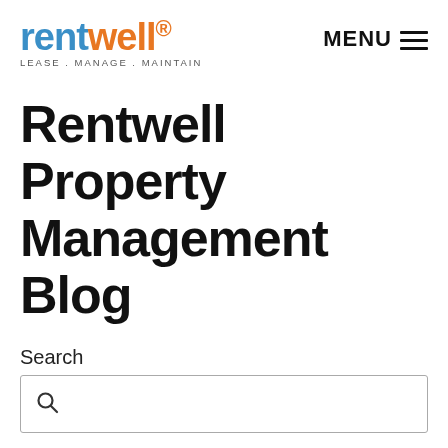[Figure (logo): Rentwell logo with tagline LEASE . MANAGE . MAINTAIN and MENU hamburger icon]
Rentwell Property Management Blog
Search
Search input field with magnifying glass icon
Property Management Pittsburgh